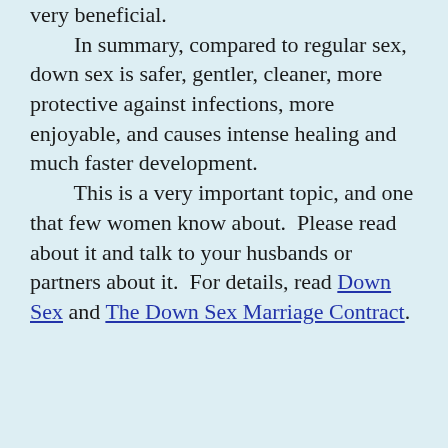very beneficial. In summary, compared to regular sex, down sex is safer, gentler, cleaner, more protective against infections, more enjoyable, and causes intense healing and much faster development. This is a very important topic, and one that few women know about. Please read about it and talk to your husbands or partners about it. For details, read Down Sex and The Down Sex Marriage Contract.